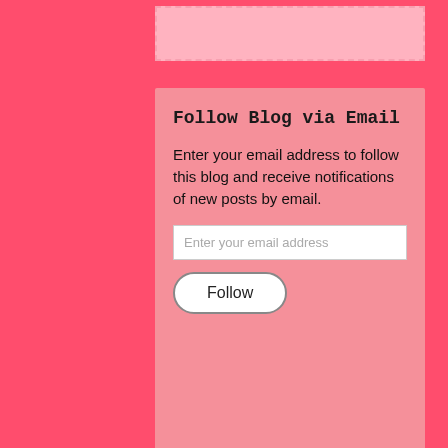Follow Blog via Email
Enter your email address to follow this blog and receive notifications of new posts by email.
Enter your email address
Follow
Advertisements
[Figure (screenshot): DuckDuckGo advertisement banner with text 'Search, browse, and email with more privacy. All in One Free App' with a phone showing the DuckDuckGo logo]